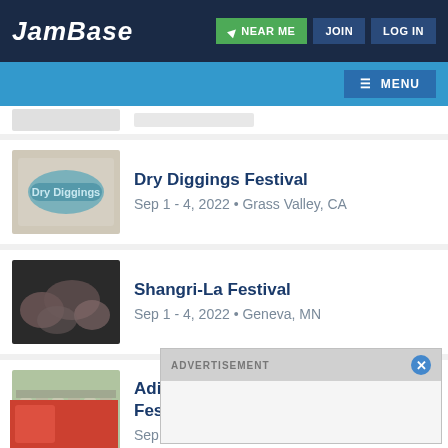JamBase — NEAR ME | JOIN | LOG IN | MENU
Dry Diggings Festival — Sep 1 - 4, 2022 • Grass Valley, CA
Shangri-La Festival — Sep 1 - 4, 2022 • Geneva, MN
Adirondack Independence Music Festival — Sep 2 - 4, 2022 • Lake George, NY
Summerdance
ADVERTISEMENT